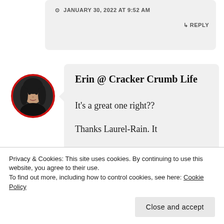JANUARY 30, 2022 AT 9:52 AM
↳ REPLY
[Figure (photo): Circular avatar photo of a woman with dark hair wearing a black outfit, framed by a red circular border.]
Erin @ Cracker Crumb Life
It's a great one right??
Thanks Laurel-Rain. It
Privacy & Cookies: This site uses cookies. By continuing to use this website, you agree to their use.
To find out more, including how to control cookies, see here: Cookie Policy
Close and accept